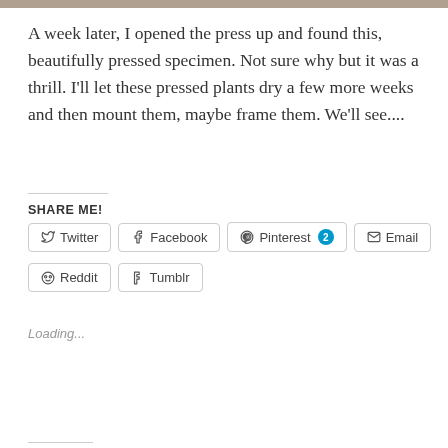[Figure (photo): Top edge of a photograph — partial decorative image bar at top of page]
A week later, I opened the press up and found this, beautifully pressed specimen. Not sure why but it was a thrill. I'll let these pressed plants dry a few more weeks and then mount them, maybe frame them. We'll see....
SHARE ME!
Twitter | Facebook | Pinterest 2 | Email | Reddit | Tumblr
Loading...